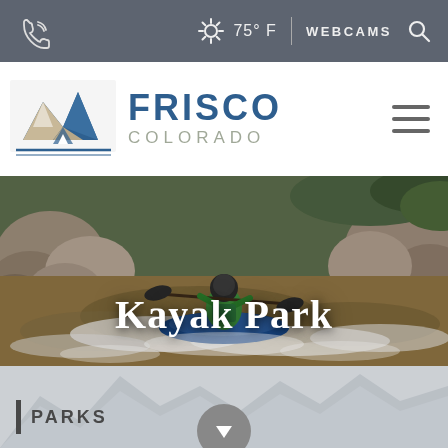75° F | WEBCAMS
[Figure (logo): Frisco Colorado logo with mountain and sailboat graphic]
[Figure (photo): Kayaker navigating whitewater rapids surrounded by rocks and rushing water]
Kayak Park
PARKS